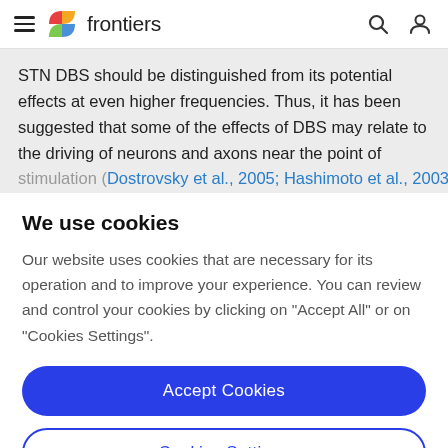frontiers
STN DBS should be distinguished from its potential effects at even higher frequencies. Thus, it has been suggested that some of the effects of DBS may relate to the driving of neurons and axons near the point of stimulation (Dostrovsky et al., 2005; Hashimoto et al., 2003
We use cookies
Our website uses cookies that are necessary for its operation and to improve your experience. You can review and control your cookies by clicking on "Accept All" or on "Cookies Settings".
Accept Cookies
Cookies Settings